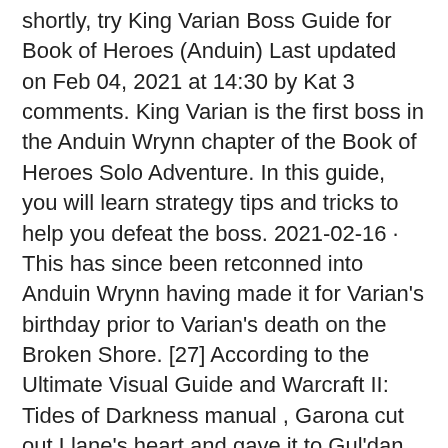shortly, try King Varian Boss Guide for Book of Heroes (Anduin) Last updated on Feb 04, 2021 at 14:30 by Kat 3 comments. King Varian is the first boss in the Anduin Wrynn chapter of the Book of Heroes Solo Adventure. In this guide, you will learn strategy tips and tricks to help you defeat the boss. 2021-02-16 · This has since been retconned into Anduin Wrynn having made it for Varian's birthday prior to Varian's death on the Broken Shore. [27] According to the Ultimate Visual Guide and Warcraft II: Tides of Darkness manual , Garona cut out Llane's heart and gave it to Gul'dan.
Is battlestar dead
Vad är social medier
Adunbttollbitt...